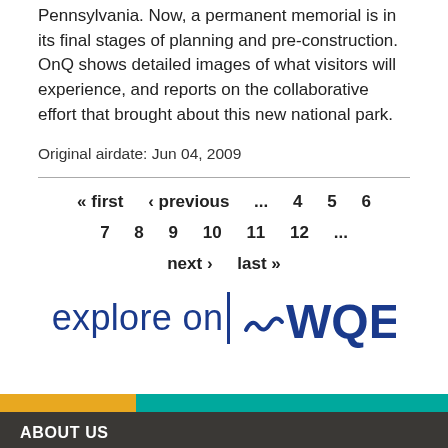Pennsylvania. Now, a permanent memorial is in its final stages of planning and pre-construction. OnQ shows detailed images of what visitors will experience, and reports on the collaborative effort that brought about this new national park.
Original airdate: Jun 04, 2009
« first ‹ previous ... 4 5 6 7 8 9 10 11 12 ... next › last »
[Figure (logo): explore on QWQED logo in dark blue]
ABOUT US